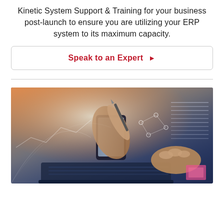Kinetic System Support & Training for your business post-launch to ensure you are utilizing your ERP system to its maximum capacity.
Speak to an Expert ▶
[Figure (photo): Person writing with pen on tablet device with digital data visualization overlay, hands on laptop in background, warm orange and blue tones]